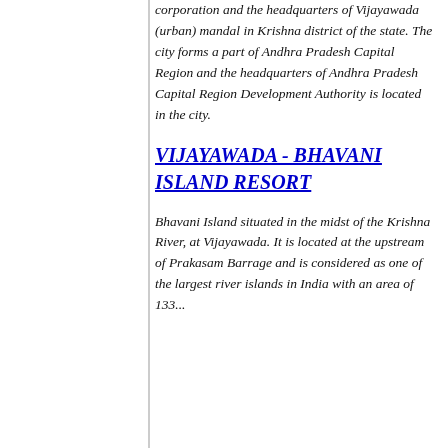corporation and the headquarters of Vijayawada (urban) mandal in Krishna district of the state. The city forms a part of Andhra Pradesh Capital Region and the headquarters of Andhra Pradesh Capital Region Development Authority is located in the city.
VIJAYAWADA - BHAVANI ISLAND RESORT
Bhavani Island situated in the midst of the Krishna River, at Vijayawada. It is located at the upstream of Prakasam Barrage and is considered as one of the largest river islands in India with an area of 133...